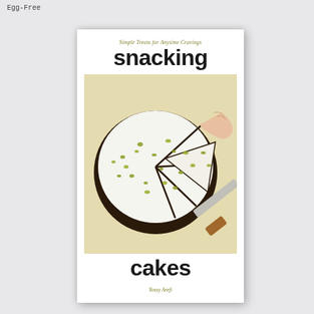Egg-Free
[Figure (photo): Book cover of 'Snacking Cakes: Simple Treats for Anytime Cravings' by Yossy Arefi. The cover shows a top-down view of a round chocolate cake with white frosting and green pistachios scattered on top. Several slices have been cut and one is being lifted by a hand. A wooden-handled knife rests beside the cake on parchment paper. The title 'snacking' appears at the top in bold black letters and 'cakes' at the bottom in bold black letters, with the subtitle 'Simple Treats for Anytime Cravings' in olive/yellow italic text above the title word, and author name 'Yossy Arefi' in olive/yellow italic text at the bottom.]